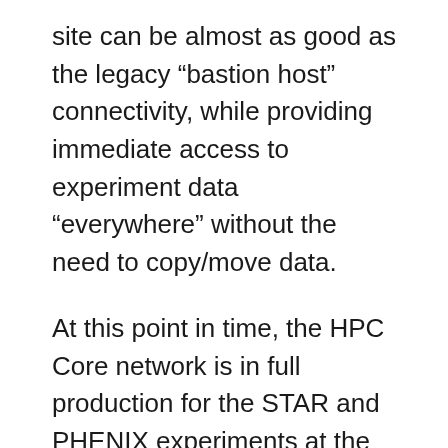site can be almost as good as the legacy “bastion host” connectivity, while providing immediate access to experiment data “everywhere” without the need to copy/move data.
At this point in time, the HPC Core network is in full production for the STAR and PHENIX experiments at the Relativistic Heavy Ion Collider (RHIC), the CFN Electron Microscopy Group, the Collider-Accelerator Division, and the RACF with a variety of computational and storage services. The network will also be used by the BNL Institutional HPC Cluster which is expected to be brought on line in 2016.